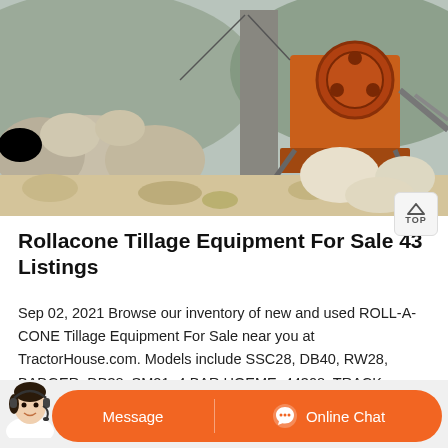[Figure (photo): Outdoor quarry or mining site with large rocks/boulders, industrial orange machinery (jaw crusher or similar), and sandy/dusty terrain in background hills]
Rollacone Tillage Equipment For Sale 43 Listings
Sep 02, 2021 Browse our inventory of new and used ROLL-A-CONE Tillage Equipment For Sale near you at TractorHouse.com. Models include SSC28, DB40, RW28, BADGER, DB38, SM21, 4 BAR HOEME, 44308, TRACK FILLER, and 12R30. Page 1 of 2.